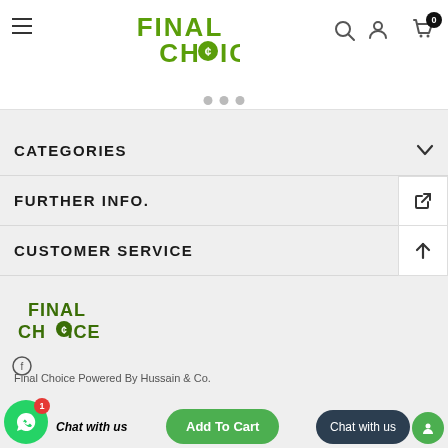[Figure (logo): Final Choice logo in green with dollar sign in letter O]
CATEGORIES
FURTHER INFO.
CUSTOMER SERVICE
[Figure (logo): Final Choice footer logo in dark green]
Final Choice Powered By Hussain & Co.
[Figure (other): Green Add To Cart button, dark Chat with us pill button, WhatsApp bubble icon, Chat with us label]